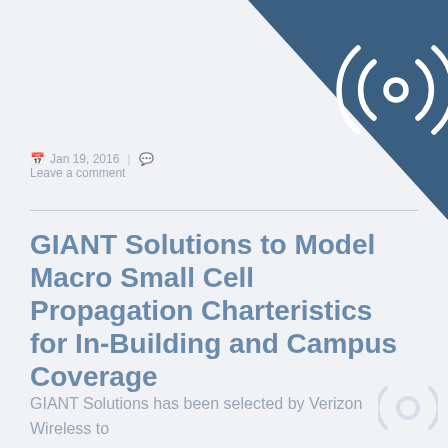[Figure (logo): Dark blue triangular corner graphic with concentric circular arc logo in white]
Jan 19, 2016  |  Leave a comment
GIANT Solutions to Model Macro Small Cell Propagation Charteristics for In-Building and Campus Coverage
GIANT Solutions has been selected by Verizon Wireless to